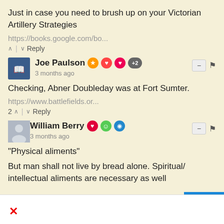Just in case you need to brush up on your Victorian Artillery Strategies
https://books.google.com/bo...
^ | v Reply
Joe Paulson  3 months ago
Checking, Abner Doubleday was at Fort Sumter.
https://www.battlefields.or...
2 ^ | v Reply
William Berry  3 months ago
“Physical aliments”
But man shall not live by bread alone. Spiritual/ intellectual aliments are necessary as well